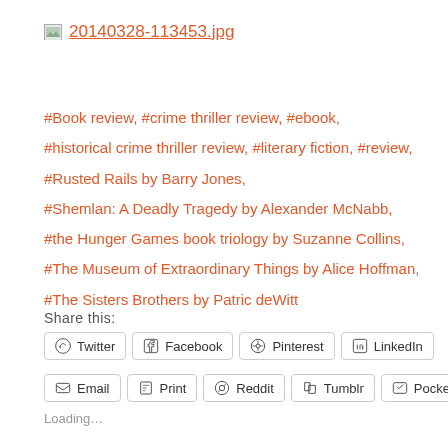[Figure (other): Image link thumbnail icon with filename 20140328-113453.jpg as a hyperlink]
#Book review, #crime thriller review, #ebook,
#historical crime thriller review, #literary fiction, #review,
#Rusted Rails by Barry Jones,
#Shemlan: A Deadly Tragedy by Alexander McNabb,
#the Hunger Games book triology by Suzanne Collins,
#The Museum of Extraordinary Things by Alice Hoffman,
#The Sisters Brothers by Patric deWitt
Share this:
Twitter | Facebook | Pinterest | LinkedIn | Email | Print | Reddit | Tumblr | Pocket
Loading...